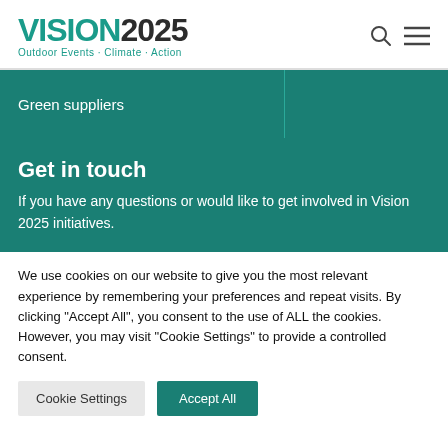VISION2025 Outdoor Events · Climate · Action
Green suppliers
Get in touch
If you have any questions or would like to get involved in Vision 2025 initiatives.
We use cookies on our website to give you the most relevant experience by remembering your preferences and repeat visits. By clicking "Accept All", you consent to the use of ALL the cookies. However, you may visit "Cookie Settings" to provide a controlled consent.